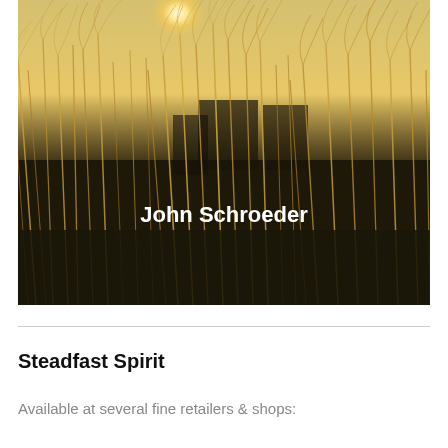[Figure (photo): Photograph of tall ornamental grasses with feathery plumes silhouetted against a warm golden sunset sky, with buildings/structures visible in the background. The name 'John Schroeder' is overlaid in white bold text near the center-bottom of the image.]
Steadfast Spirit
Available at several fine retailers & shops: